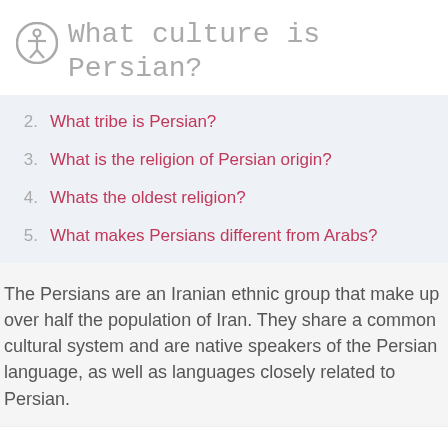What culture is Persian?
2. What tribe is Persian?
3. What is the religion of Persian origin?
4. Whats the oldest religion?
5. What makes Persians different from Arabs?
The Persians are an Iranian ethnic group that make up over half the population of Iran. They share a common cultural system and are native speakers of the Persian language, as well as languages closely related to Persian.
This website uses cookies to improve your experience. We'll assume you're ok with this, but you can opt-out if you wish.